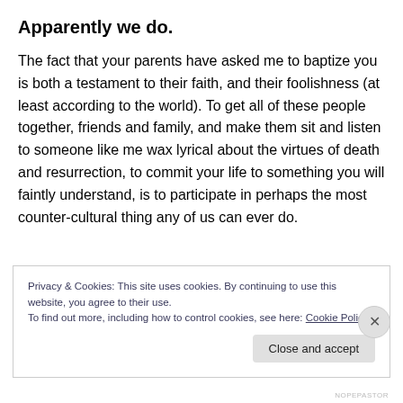Apparently we do.
The fact that your parents have asked me to baptize you is both a testament to their faith, and their foolishness (at least according to the world). To get all of these people together, friends and family, and make them sit and listen to someone like me wax lyrical about the virtues of death and resurrection, to commit your life to something you will faintly understand, is to participate in perhaps the most counter-cultural thing any of us can ever do.
Privacy & Cookies: This site uses cookies. By continuing to use this website, you agree to their use.
To find out more, including how to control cookies, see here: Cookie Policy
Close and accept